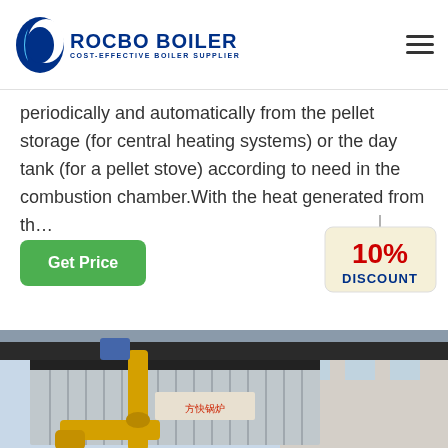[Figure (logo): Rocbo Boiler logo with crescent moon shape and text 'ROCBO BOILER / COST-EFFECTIVE BOILER SUPPLIER']
periodically and automatically from the pellet storage (for central heating systems) or the day tank (for a pellet stove) according to need in the combustion chamber.With the heat generated from th…
Get Price
[Figure (infographic): 10% DISCOUNT badge/sticker graphic]
[Figure (photo): Industrial boiler equipment with corrugated metal casing and yellow gas pipes in a factory setting]